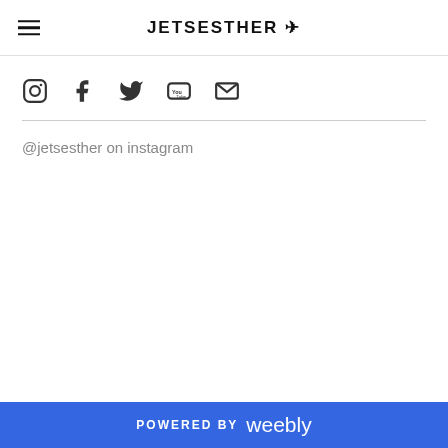JETSESTHER ✈
[Figure (other): Social media icons row: Instagram, Facebook, Twitter, YouTube, Email]
@jetsesther on instagram
POWERED BY weebly